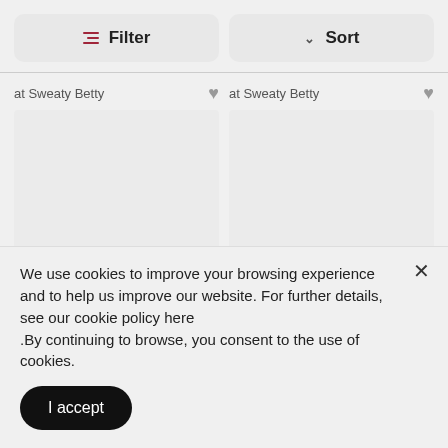[Figure (screenshot): Filter button with icon on the left and Sort button with chevron on the right]
at Sweaty Betty
at Sweaty Betty
[Figure (photo): Product image placeholder (light gray rectangle)]
[Figure (photo): Product image placeholder (light gray rectangle)]
We use cookies to improve your browsing experience and to help us improve our website. For further details, see our cookie policy here
.By continuing to browse, you consent to the use of cookies.
I accept